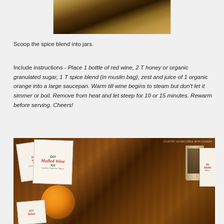[Figure (photo): Close-up photo of spices and cinnamon sticks in a glass jar]
Scoop the spice blend into jars.
Include instructions - Place 1 bottle of red wine, 2 T honey or organic granulated sugar, 1 T spice blend (in muslin bag), zest and juice of 1 organic orange into a large saucepan. Warm till wine begins to steam but don't let it simmer or boil. Remove from heat and let steep for 10 or 15 minutes. Rewarm before serving. Cheers!
[Figure (photo): Photo of DIY Mulled Wine Kit labels arranged on a wooden surface with an orange and a jar of spices]